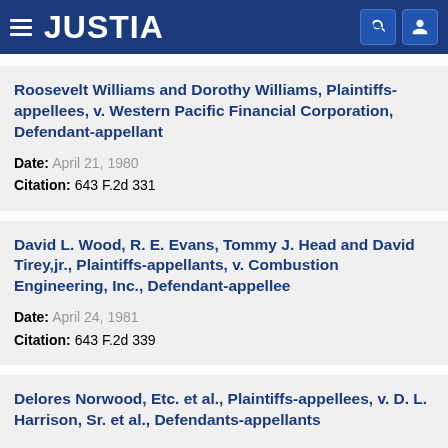JUSTIA
Roosevelt Williams and Dorothy Williams, Plaintiffs-appellees, v. Western Pacific Financial Corporation, Defendant-appellant
Date: April 21, 1980
Citation: 643 F.2d 331
David L. Wood, R. E. Evans, Tommy J. Head and David Tirey,jr., Plaintiffs-appellants, v. Combustion Engineering, Inc., Defendant-appellee
Date: April 24, 1981
Citation: 643 F.2d 339
Delores Norwood, Etc. et al., Plaintiffs-appellees, v. D. L. Harrison, Sr. et al., Defendants-appellants